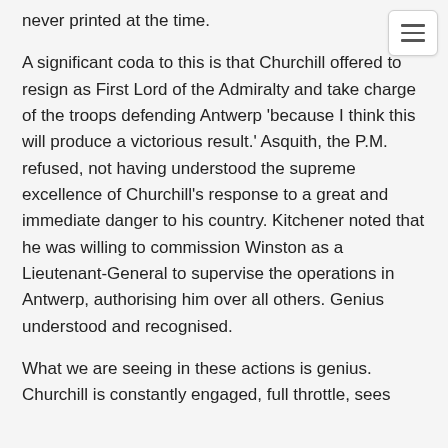[Figure (other): Hamburger menu toggle button in top-right corner]
never printed at the time.
A significant coda to this is that Churchill offered to resign as First Lord of the Admiralty and take charge of the troops defending Antwerp 'because I think this will produce a victorious result.' Asquith, the P.M. refused, not having understood the supreme excellence of Churchill's response to a great and immediate danger to his country. Kitchener noted that he was willing to commission Winston as a Lieutenant-General to supervise the operations in Antwerp, authorising him over all others. Genius understood and recognised.
What we are seeing in these actions is genius. Churchill is constantly engaged, full throttle, sees